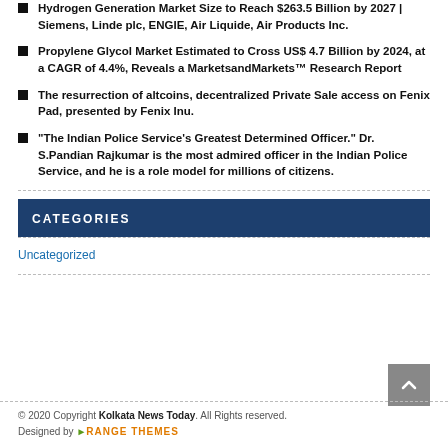Hydrogen Generation Market Size to Reach $263.5 Billion by 2027 | Siemens, Linde plc, ENGIE, Air Liquide, Air Products Inc.
Propylene Glycol Market Estimated to Cross US$ 4.7 Billion by 2024, at a CAGR of 4.4%, Reveals a MarketsandMarkets™ Research Report
The resurrection of altcoins, decentralized Private Sale access on Fenix Pad, presented by Fenix Inu.
“The Indian Police Service’s Greatest Determined Officer.” Dr. S.Pandian Rajkumar is the most admired officer in the Indian Police Service, and he is a role model for millions of citizens.
CATEGORIES
Uncategorized
© 2020 Copyright Kolkata News Today. All Rights reserved. Designed by ORANGE THEMES